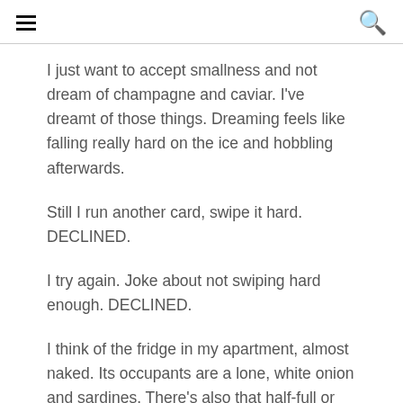[hamburger menu] [search icon]
I just want to accept smallness and not dream of champagne and caviar. I've dreamt of those things. Dreaming feels like falling really hard on the ice and hobbling afterwards.
Still I run another card, swipe it hard. DECLINED.
I try again. Joke about not swiping hard enough. DECLINED.
I think of the fridge in my apartment, almost naked. Its occupants are a lone, white onion and sardines. There's also that half-full or half-empty bottle of Diet Pepsi, whose label I ripped off after having to pay overdue rent.